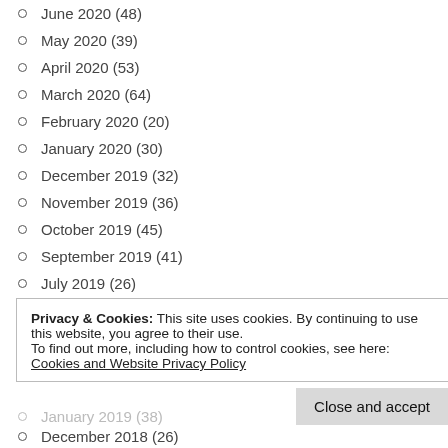June 2020 (48)
May 2020 (39)
April 2020 (53)
March 2020 (64)
February 2020 (20)
January 2020 (30)
December 2019 (32)
November 2019 (36)
October 2019 (45)
September 2019 (41)
July 2019 (26)
Privacy & Cookies: This site uses cookies. By continuing to use this website, you agree to their use.
To find out more, including how to control cookies, see here: Cookies and Website Privacy Policy
January 2019 (38)
December 2018 (26)